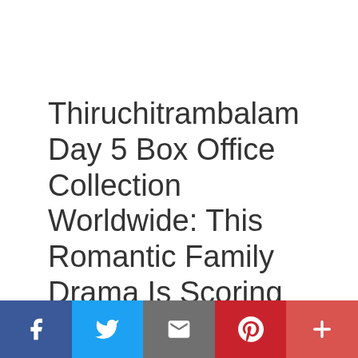Thiruchitrambalam Day 5 Box Office Collection Worldwide: This Romantic Family Drama Is Scoring Big!
August 22, 2022 by www.filmibeat.com
Dhanush- starrer Thiruchitrambalam, written and directed by Mithran Jawahar, marking the second collaboration of the actor and director. The movie...